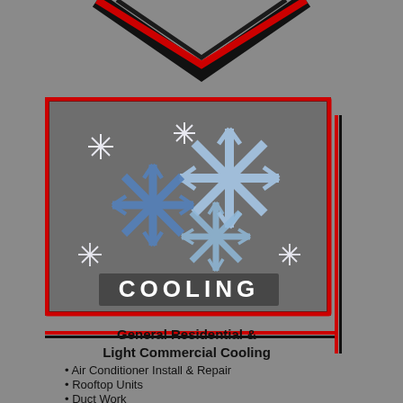[Figure (illustration): Chevron / downward arrow shape at top of page, dark with red outline]
[Figure (illustration): Cooling service panel: dark gray background box with red border containing blue snowflake icons and white 'COOLING' text label]
General Residential & Light Commercial Cooling
Air Conditioner Install & Repair
Rooftop Units
Duct Work